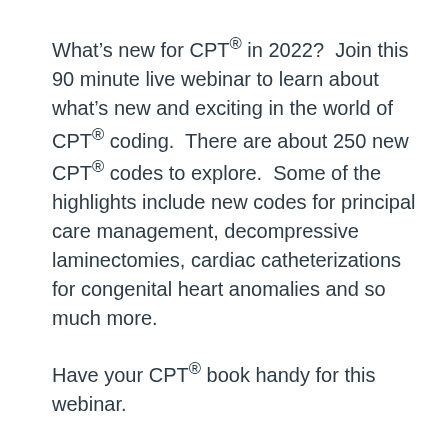What's new for CPT® in 2022?  Join this 90 minute live webinar to learn about what's new and exciting in the world of CPT® coding.  There are about 250 new CPT® codes to explore.  Some of the highlights include new codes for principal care management, decompressive laminectomies, cardiac catheterizations for congenital heart anomalies and so much more.
Have your CPT® book handy for this webinar.
After the webinar, participants will be able to: